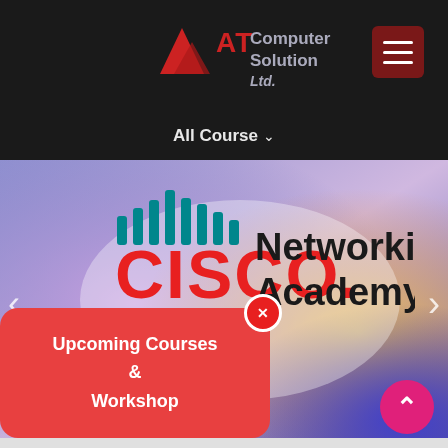[Figure (logo): AT Computer Solution Ltd. logo with red mountain icon and grey text]
[Figure (screenshot): Hamburger menu icon button with dark red background]
All Course ↓
[Figure (logo): Cisco Networking Academy logo with teal antenna wave icon, red CISCO text, and black Networking Academy text, on a purple-pink-orange gradient background]
[Figure (infographic): Left navigation arrow on slider]
[Figure (infographic): Right navigation arrow on slider]
Upcoming Courses & Workshop
[Figure (infographic): Scroll to top pink circular button with upward chevron]